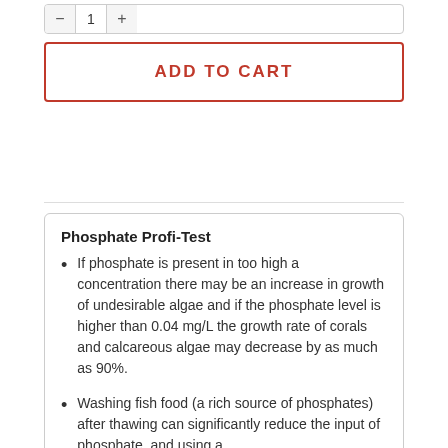[Figure (other): Quantity selector with minus button, value 1, and plus button]
ADD TO CART
Phosphate Profi-Test
If phosphate is present in too high a concentration there may be an increase in growth of undesirable algae and if the phosphate level is higher than 0.04 mg/L the growth rate of corals and calcareous algae may decrease by as much as 90%.
Washing fish food (a rich source of phosphates) after thawing can significantly reduce the input of phosphate, and using a